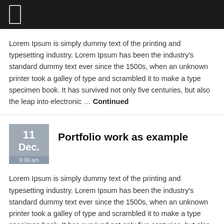Lorem Ipsum is simply dummy text of the printing and typesetting industry. Lorem Ipsum has been the industry's standard dummy text ever since the 1500s, when an unknown printer took a galley of type and scrambled it to make a type specimen book. It has survived not only five centuries, but also the leap into electronic … Continued
Portfolio work as example
Lorem Ipsum is simply dummy text of the printing and typesetting industry. Lorem Ipsum has been the industry's standard dummy text ever since the 1500s, when an unknown printer took a galley of type and scrambled it to make a type specimen book. It has survived not only five centuries, but also